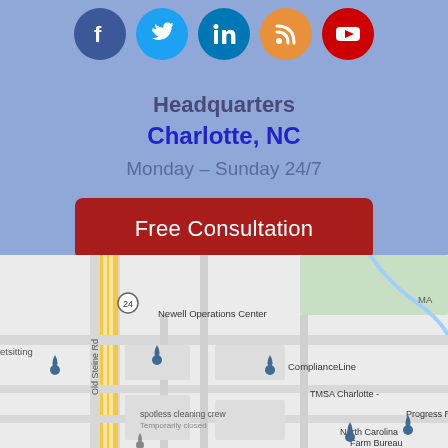[Figure (infographic): Social media icons in circles: Facebook (dark blue), Twitter (light blue), LinkedIn (blue), RSS (orange), YouTube (red)]
Headquarters
Charlotte, NC
Monday – Sunday 24/7
Free Consultation
[Figure (map): Google Maps screenshot showing Charlotte, NC area with locations including Newell Operations Center, ComplianceLine, TMSA Charlotte, spotless cleaning crew (Temporarily closed), North Carolina Farm Bureau, Progress Res, and Old Steine Rd. A yellow road runs through the center.]